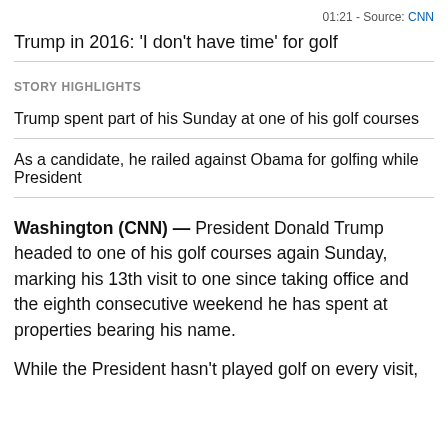01:21 - Source: CNN
Trump in 2016: 'I don't have time' for golf
STORY HIGHLIGHTS
Trump spent part of his Sunday at one of his golf courses
As a candidate, he railed against Obama for golfing while President
Washington (CNN) — President Donald Trump headed to one of his golf courses again Sunday, marking his 13th visit to one since taking office and the eighth consecutive weekend he has spent at properties bearing his name.
While the President hasn't played golf on every visit,